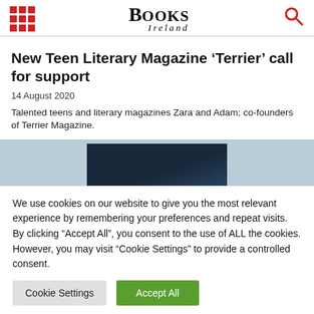Books Ireland
New Teen Literary Magazine ‘Terrier’ call for support
14 August 2020
Talented teens and literary magazines Zara and Adam; co-founders of Terrier Magazine.
[Figure (photo): A dark rectangular image partially visible against a light blue background, appearing to show a book or magazine cover.]
We use cookies on our website to give you the most relevant experience by remembering your preferences and repeat visits. By clicking “Accept All”, you consent to the use of ALL the cookies. However, you may visit “Cookie Settings” to provide a controlled consent.